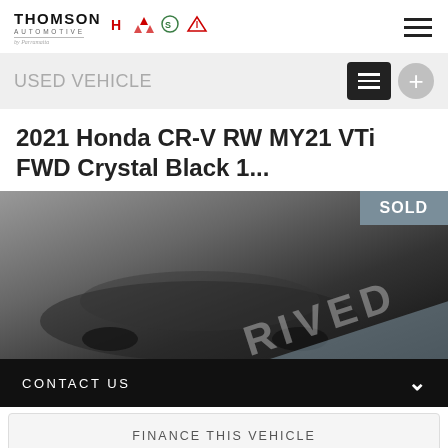THOMSON AUTOMOTIVE
USED VEHICLE
2021 Honda CR-V RW MY21 VTi FWD Crystal Black 1...
[Figure (photo): Dark photograph of a Honda CR-V vehicle with a 'SOLD' badge in the top right corner and a diagonal grey banner with text 'RIVED' across the lower right portion of the image.]
CONTACT US
FINANCE THIS VEHICLE